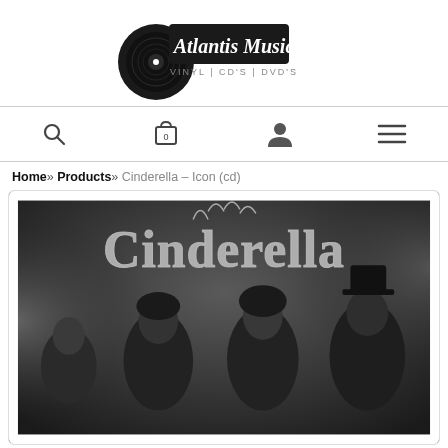[Figure (logo): Atlantis Music logo with vinyl record graphic and text 'Atlantis Music VINYL | CD'S | DVD'S']
Search icon | Cart (0) | User icon | Menu icon
Home» Products» Cinderella – Icon (cd)
[Figure (photo): Black and white photo of the band Cinderella with stylized 'Cinderella' text logo above, four band members posed together]